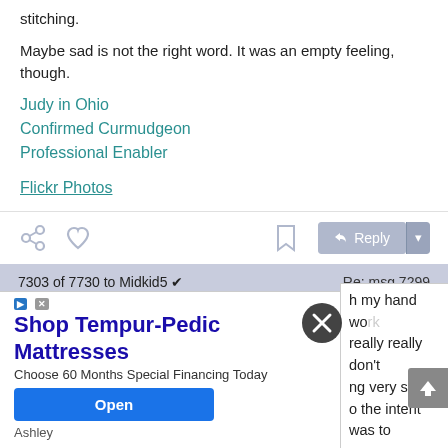stitching.
Maybe sad is not the right word. It was an empty feeling, though.
Judy in Ohio
Confirmed Curmudgeon
Professional Enabler
Flickr Photos
[Figure (screenshot): Action bar with share, like, bookmark, and Reply button icons]
7303 of 7730 to Midkid5 ✔   Re: msg 7299
[Figure (photo): Avatar photo of a woman with glasses and brown hair]
From: Dee in TX (DBRADFOR3)
May-3
[Figure (screenshot): Advertisement overlay: Shop Tempur-Pedic Mattresses - Choose 60 Months Special Financing Today - Open button - Ashley]
h my hand work really really don't ng very slow and o the intent was to